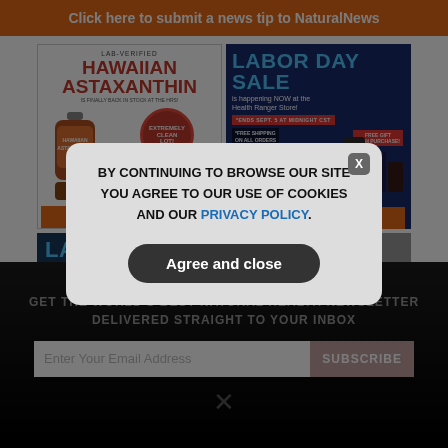Click here to submit a news tip to NaturalNews
[Figure (illustration): Hawaiian Astaxanthin product advertisement — lab-verified, back in stock, extremely clean lot, shop now button]
[Figure (illustration): Labor Day Sale advertisement for Health Ranger Store — ends Sept. 5 at midnight CST, free shipping on all orders over $99, free gift with purchase, shop now button]
[Figure (illustration): Lab-Verified Pink product advertisement (partially visible)]
[Figure (photo): Partial gray photo (partially visible)]
GET THE WORLD'S BEST NATURAL HEALTH NEWSLETTER DELIVERED STRAIGHT TO YOUR INBOX
Enter Your Email Address
SUBSCRIBE
BY CONTINUING TO BROWSE OUR SITE YOU AGREE TO OUR USE OF COOKIES AND OUR PRIVACY POLICY.
Agree and close